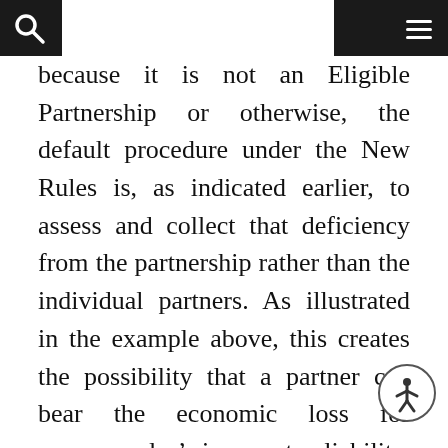because it is not an Eligible Partnership or otherwise, the default procedure under the New Rules is, as indicated earlier, to assess and collect that deficiency from the partnership rather than the individual partners. As illustrated in the example above, this creates the possibility that a partner can bear the economic loss for someone else's income tax liability. To avoid this result, the New Rules include a mechanism, in the form of a partnership election, which if timely made, allows the partnership to cause the Reviewed Year partners to be responsible for their own tax liability. If the partnership makes this election and sends required information to